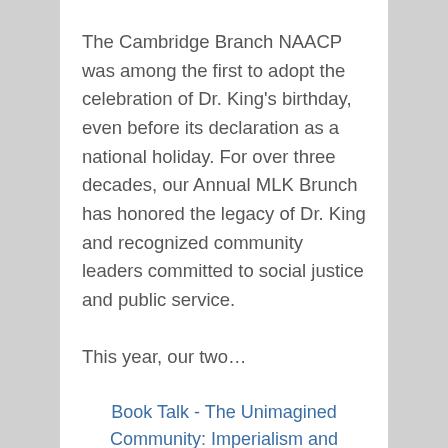The Cambridge Branch NAACP was among the first to adopt the celebration of Dr. King’s birthday, even before its declaration as a national holiday. For over three decades, our Annual MLK Brunch has honored the legacy of Dr. King and recognized community leaders committed to social justice and public service.
This year, our two…
Book Talk - The Unimagined Community: Imperialism and